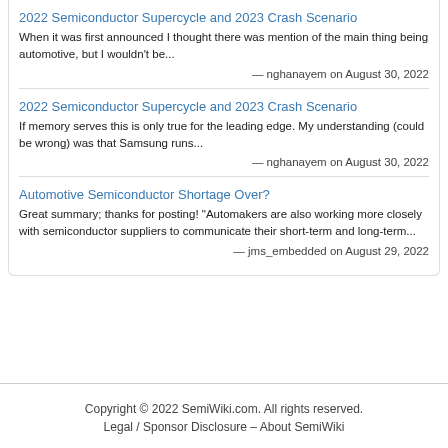2022 Semiconductor Supercycle and 2023 Crash Scenario
When it was first announced I thought there was mention of the main thing being automotive, but I wouldn't be...
— nghanayem on August 30, 2022
2022 Semiconductor Supercycle and 2023 Crash Scenario
If memory serves this is only true for the leading edge. My understanding (could be wrong) was that Samsung runs...
— nghanayem on August 30, 2022
Automotive Semiconductor Shortage Over?
Great summary; thanks for posting! "Automakers are also working more closely with semiconductor suppliers to communicate their short-term and long-term...
— jms_embedded on August 29, 2022
Copyright © 2022 SemiWiki.com. All rights reserved.
Legal / Sponsor Disclosure – About SemiWiki